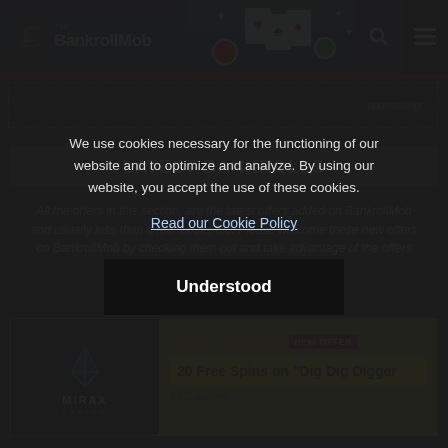The BankrollMob
sponsoring
LATEST BANKROLLS
All the offers in this section, are the latest offers added on BankrollMob and usually less than a few weeks old. Please welcome these new offers on BankrollMob by checking them out and take advantage of the offers you find interesting.
Mirax Casino NEW OFFER
20 Free Spins on "Dig Dig Digger"
T&C applies
We use cookies necessary for the functioning of our website and to optimize and analyze. By using our website, you accept the use of these cookies.
Read our Cookie Policy
Understood